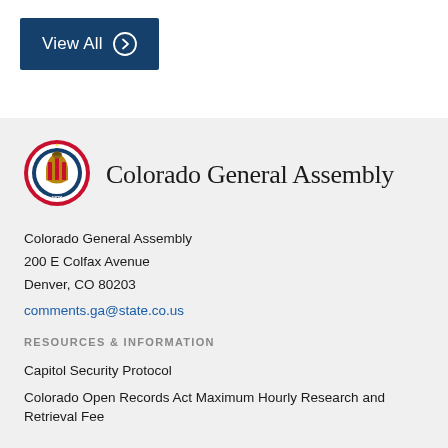[Figure (other): Blue 'View All' button with right-arrow circle icon]
[Figure (logo): Colorado state seal circular logo in red and blue with gold eagle]
Colorado General Assembly
Colorado General Assembly
200 E Colfax Avenue
Denver, CO 80203
comments.ga@state.co.us
RESOURCES & INFORMATION
Capitol Security Protocol
Colorado Open Records Act Maximum Hourly Research and Retrieval Fee